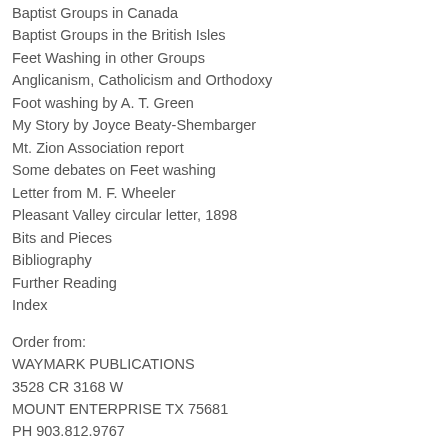Baptist Groups in Canada
Baptist Groups in the British Isles
Feet Washing in other Groups
Anglicanism, Catholicism and Orthodoxy
Foot washing by A. T. Green
My Story by Joyce Beaty-Shembarger
Mt. Zion Association report
Some debates on Feet washing
Letter from M. F. Wheeler
Pleasant Valley circular letter, 1898
Bits and Pieces
Bibliography
Further Reading
Index
Order from:
WAYMARK PUBLICATIONS
3528 CR 3168 W
MOUNT ENTERPRISE TX 75681
PH 903.812.9767
Prices/payments are in U. S. Dollars. Postage and handling